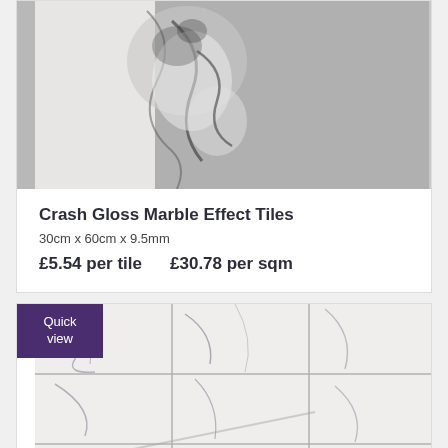[Figure (photo): Close-up photo of Crash Gloss Marble Effect Tile showing black and white marble texture pattern]
Crash Gloss Marble Effect Tiles
30cm x 60cm x 9.5mm
£5.54 per tile    £30.78 per sqm
[Figure (photo): Photo of marble effect tiles installed in a bathroom, showing white tiles with grey veining on walls and floor. A 'Quick view' button overlay is present in the top-left corner.]